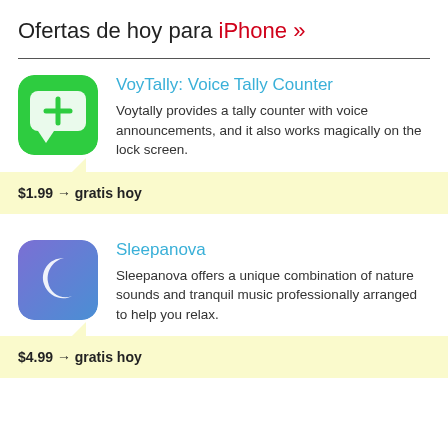Ofertas de hoy para iPhone »
[Figure (illustration): Green rounded square app icon with a white speech bubble containing a green plus sign — VoyTally app icon]
VoyTally: Voice Tally Counter
Voytally provides a tally counter with voice announcements, and it also works magically on the lock screen.
$1.99 → gratis hoy
[Figure (illustration): Purple/blue rounded square app icon with a crescent moon — Sleepanova app icon]
Sleepanova
Sleepanova offers a unique combination of nature sounds and tranquil music professionally arranged to help you relax.
$4.99 → gratis hoy